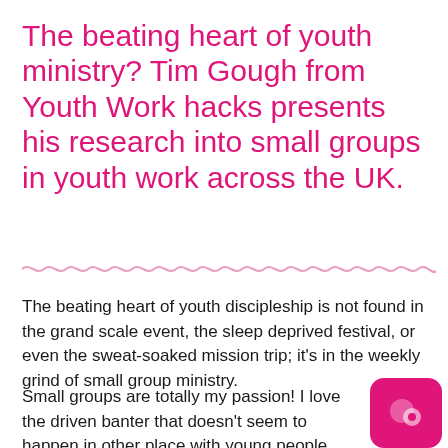The beating heart of youth ministry? Tim Gough from Youth Work hacks presents his research into small groups in youth work across the UK.
The beating heart of youth discipleship is not found in the grand scale event, the sleep deprived festival, or even the sweat-soaked mission trip; it's in the weekly grind of small group ministry.
Small groups are totally my passion! I love the driven banter that doesn't seem to happen in other place with young people. Relationships go deeper, challenges are met, and Jesus is just so